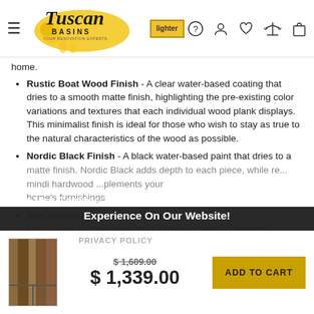Tuscan Basins — navigation bar with logo and icons
home.
Rustic Boat Wood Finish - A clear water-based coating that dries to a smooth matte finish, highlighting the pre-existing color variations and textures that each individual wood plank displays. This minimalist finish is ideal for those who wish to stay as true to the natural characteristics of the wood as possible.
Nordic Black Finish - A black water-based paint that dries to a matte finish. Nordic Black adds depth to each piece, while re... mindi hardwood... plements your home's furnishings.
Iron Hardware... our furniture are hand-made and finished with a powder coating, preventing...
We Use Cookies To Ensure That We Give You The Best Experience On Our Website!
PRIVACY POLICY   ACCEPT ✓
$ 1,609.00  $ 1,339.00  ADD TO CART